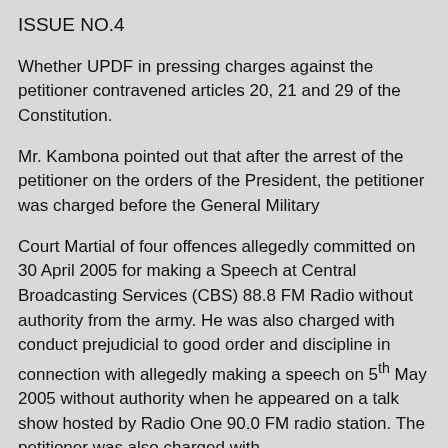ISSUE NO.4
Whether UPDF in pressing charges against the petitioner contravened articles 20, 21 and 29 of the Constitution.
Mr. Kambona pointed out that after the arrest of the petitioner on the orders of the President, the petitioner was charged before the General Military
Court Martial of four offences allegedly committed on 30 April 2005 for making a Speech at Central Broadcasting Services (CBS) 88.8 FM Radio without authority from the army. He was also charged with conduct prejudicial to good order and discipline in connection with allegedly making a speech on 5th May 2005 without authority when he appeared on a talk show hosted by Radio One 90.0 FM radio station. The petitioner was also charged with